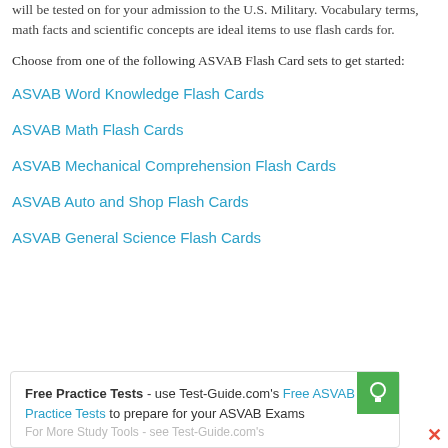will be tested on for your admission to the U.S. Military. Vocabulary terms, math facts and scientific concepts are ideal items to use flash cards for.
Choose from one of the following ASVAB Flash Card sets to get started:
ASVAB Word Knowledge Flash Cards
ASVAB Math Flash Cards
ASVAB Mechanical Comprehension Flash Cards
ASVAB Auto and Shop Flash Cards
ASVAB General Science Flash Cards
Free Practice Tests - use Test-Guide.com's Free ASVAB Practice Tests to prepare for your ASVAB Exams
For More Study Tools - see Test-Guide.com's